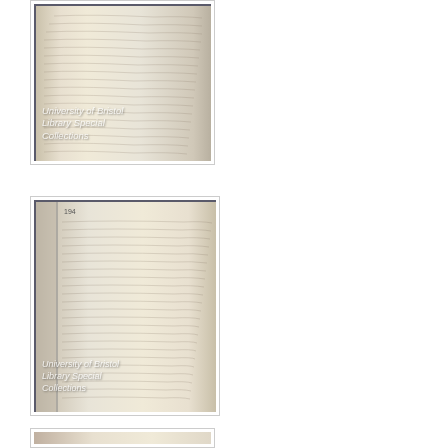[Figure (photo): Photograph of an open handwritten manuscript/ledger page showing cursive script text. Watermark reads 'University of Bristol Library Special Collections'. Image is partially cropped at top.]
[Figure (photo): Photograph of an open handwritten manuscript/ledger page showing cursive script text, full page view with binding visible on left. Watermark reads 'University of Bristol Library Special Collections'.]
[Figure (photo): Partially visible third manuscript photograph, cropped at bottom of page.]